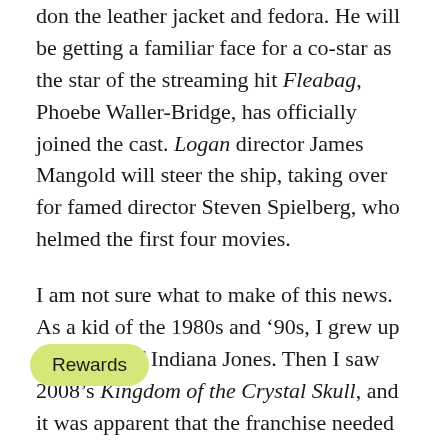don the leather jacket and fedora. He will be getting a familiar face for a co-star as the star of the streaming hit Fleabag, Phoebe Waller-Bridge, has officially joined the cast. Logan director James Mangold will steer the ship, taking over for famed director Steven Spielberg, who helmed the first four movies.
I am not sure what to make of this news. As a kid of the 1980s and ‘90s, I grew up in the age of Indiana Jones. Then I saw 2008’s Kingdom of the Crystal Skull, and it was apparent that the franchise needed to come to an end. Here we are with a fifth movie in the works, and Indiana Jones deserves a better send off than Crystal Skull, but is this it? Ford is 78 years old, and these been action movies. It will be hard to believe who is nearly 80 can still swing from a whip